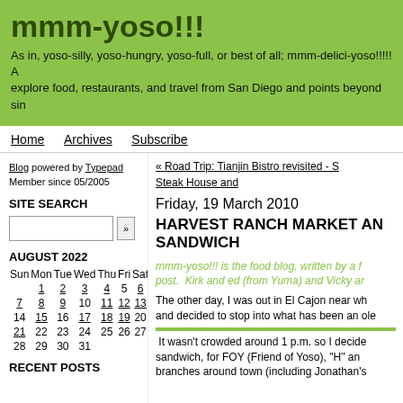mmm-yoso!!!
As in, yoso-silly, yoso-hungry, yoso-full, or best of all; mmm-delici-yoso!!!!! A... explore food, restaurants, and travel from San Diego and points beyond sin...
Home   Archives   Subscribe
Blog powered by Typepad
Member since 05/2005
SITE SEARCH
AUGUST 2022
| Sun | Mon | Tue | Wed | Thu | Fri | Sat |
| --- | --- | --- | --- | --- | --- | --- |
|  | 1 | 2 | 3 | 4 | 5 | 6 |
| 7 | 8 | 9 | 10 | 11 | 12 | 13 |
| 14 | 15 | 16 | 17 | 18 | 19 | 20 |
| 21 | 22 | 23 | 24 | 25 | 26 | 27 |
| 28 | 29 | 30 | 31 |  |  |  |
RECENT POSTS
« Road Trip: Tianjin Bistro revisited - S...
Steak House and...
Friday, 19 March 2010
HARVEST RANCH MARKET AN... SANDWICH
mmm-yoso!!! is the food blog, written by a f... post. Kirk and ed (from Yuma) and Vicky ar...
The other day, I was out in El Cajon near wh... and decided to stop into what has been an ole...
It wasn't crowded around 1 p.m. so I decide... sandwich, for FOY (Friend of Yoso), "H" an... branches around town (including Jonathan's...